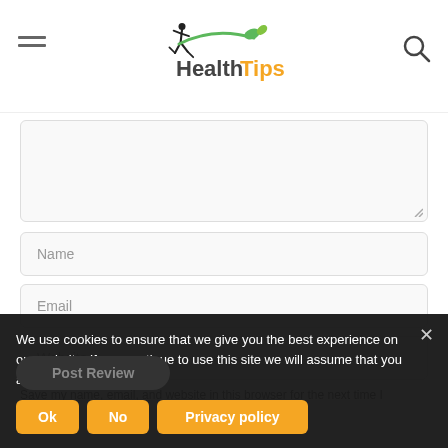HealthTips
[Figure (screenshot): Textarea form field with resize handle]
Name
Email
Website
Save my name, email, and website in this browser for the next time I
Post Review
We use cookies to ensure that we give you the best experience on our website. If you continue to use this site we will assume that you are happy with it.
Ok
No
Privacy policy